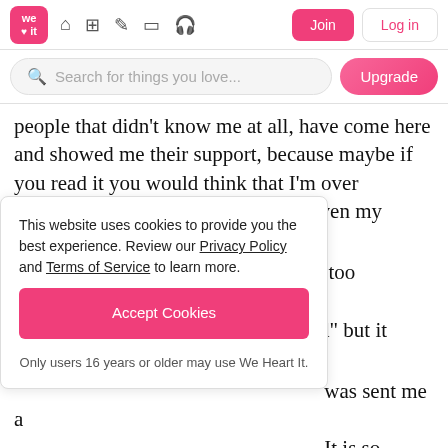we heart it — navigation bar with Join and Log in buttons
Search for things you love...
people that didn't know me at all, have come here and showed me their support, because maybe if you read it you would think that I'm over reacting, but it is just hard because even my school uniform makes me feel
This website uses cookies to provide you the best experience. Review our Privacy Policy and Terms of Service to learn more.
[Accept Cookies]
Only users 16 years or older may use We Heart It.
ybe the skirt is too lalize that??
d" but it could get
was sent me a It is so important to fucking stop this.
Because women are NOT sexual objects. They don't